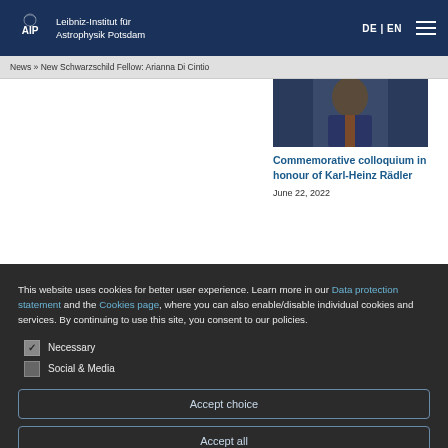Leibniz-Institut für Astrophysik Potsdam | DE | EN
News » New Schwarzschild Fellow: Arianna Di Cintio
[Figure (photo): Partial photo of a person in a dark suit with a tie]
Commemorative colloquium in honour of Karl-Heinz Rädler
June 22, 2022
This website uses cookies for better user experience. Learn more in our Data protection statement and the Cookies page, where you can also enable/disable individual cookies and services. By continuing to use this site, you consent to our policies.
Necessary
Social & Media